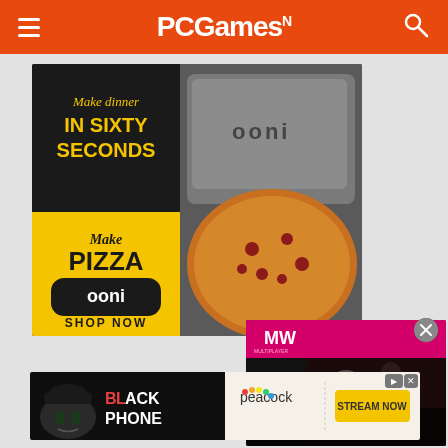PCGamesN
[Figure (photo): Ooni pizza oven advertisement: 'Make dinner IN SIXTY SECONDS / Make Pizza / ooni / SHOP NOW' with pizza and oven imagery]
[Figure (screenshot): MW (Multiplayer) video overlay for 'Alone in the Dark Remake' with play button]
[Figure (photo): Bottom banner ad: 'BLACK PHONE' on Peacock - STREAM NOW]